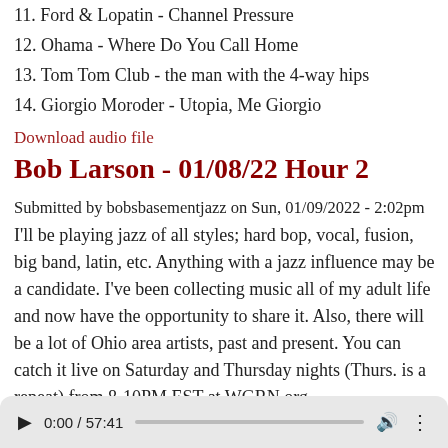11. Ford & Lopatin - Channel Pressure
12. Ohama - Where Do You Call Home
13. Tom Tom Club - the man with the 4-way hips
14. Giorgio Moroder - Utopia, Me Giorgio
Download audio file
Bob Larson - 01/08/22 Hour 2
Submitted by bobsbasementjazz on Sun, 01/09/2022 - 2:02pm
I'll be playing jazz of all styles; hard bop, vocal, fusion, big band, latin, etc. Anything with a jazz influence may be a candidate. I've been collecting music all of my adult life and now have the opportunity to share it. Also, there will be a lot of Ohio area artists, past and present. You can catch it live on Saturday and Thursday nights (Thurs. is a repeat) from 8-10PM EST at WGRN.org.
[Figure (other): Audio player showing 0:00 / 57:41 with play button, progress bar, volume icon, and more options icon]